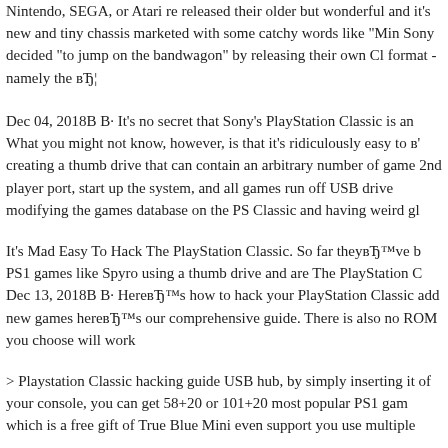Nintendo, SEGA, or Atari re released their older but wonderful and it's new and tiny chassis marketed with some catchy words like "Min Sony decided "to jump on the bandwagon" by releasing their own Cl format - namely the вЂ¦
Dec 04, 2018В В· It's no secret that Sony's PlayStation Classic is an What you might not know, however, is that it's ridiculously easy to в' creating a thumb drive that can contain an arbitrary number of game 2nd player port, start up the system, and all games run off USB drive modifying the games database on the PS Classic and having weird gl
It's Mad Easy To Hack The PlayStation Classic. So far theyвЂ™ve b PS1 games like Spyro using a thumb drive and are The PlayStation C Dec 13, 2018В В· HereвЂ™s how to hack your PlayStation Classic add new games hereвЂ™s our comprehensive guide. There is also no ROM you choose will work
> Playstation Classic hacking guide USB hub, by simply inserting it of your console, you can get 58+20 or 101+20 most popular PS1 gam which is a free gift of True Blue Mini even support you use multiple